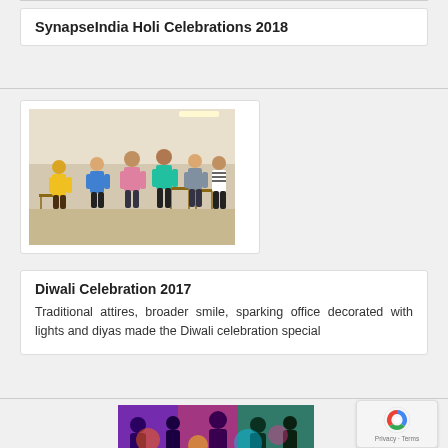SynapseIndia Holi Celebrations 2018
[Figure (photo): Group of people in a room, appearing to play games or activities during a celebration, some wearing colorful clothes]
Diwali Celebration 2017
Traditional attires, broader smile, sparking office decorated with lights and diyas made the Diwali celebration special
[Figure (photo): Colorful group photo of people celebrating Holi with vibrant colors]